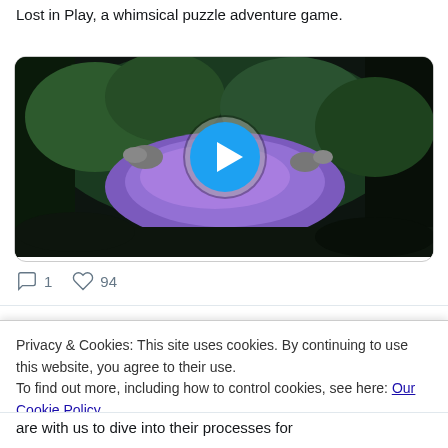Lost in Play, a whimsical puzzle adventure game.
[Figure (screenshot): Video thumbnail of a forest scene with a purple/violet path, trees, and rocks. A blue circular play button is overlaid in the center.]
1  94
Privacy & Cookies: This site uses cookies. By continuing to use this website, you agree to their use.
To find out more, including how to control cookies, see here: Our Cookie Policy
Close and accept
are with us to dive into their processes for